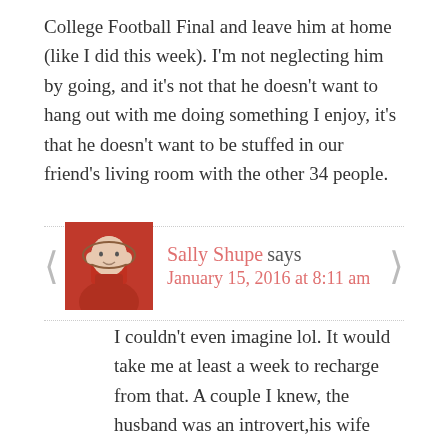College Football Final and leave him at home (like I did this week). I'm not neglecting him by going, and it's not that he doesn't want to hang out with me doing something I enjoy, it's that he doesn't want to be stuffed in our friend's living room with the other 34 people.
Sally Shupe says January 15, 2016 at 8:11 am
I couldn't even imagine lol. It would take me at least a week to recharge from that. A couple I knew, the husband was an introvert,his wife was an extrovert. When in a large group, she was energized. She fed off it. He was drained. It was like they fed off him. That's how I feel after being